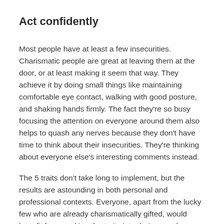Act confidently
Most people have at least a few insecurities. Charismatic people are great at leaving them at the door, or at least making it seem that way. They achieve it by doing small things like maintaining comfortable eye contact, walking with good posture, and shaking hands firmly. The fact they're so busy focusing the attention on everyone around them also helps to quash any nerves because they don't have time to think about their insecurities. They're thinking about everyone else's interesting comments instead.
The 5 traits don't take long to implement, but the results are astounding in both personal and professional contexts. Everyone, apart from the lucky few who are already charismatically gifted, would benefit from working the traits into their everyday lives.
[Figure (other): Post Comment button with speech bubble icon, light blue background]